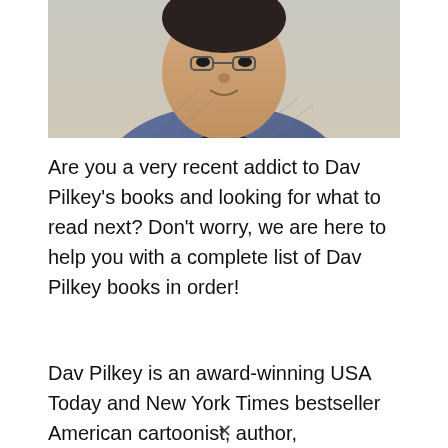[Figure (photo): Photo of Dav Pilkey, a man wearing a blue/grey plaid blazer and dark shirt, cropped to show face and upper torso against a light background]
Are you a very recent addict to Dav Pilkey's books and looking for what to read next? Don't worry, we are here to help you with a complete list of Dav Pilkey books in order!
Dav Pilkey is an award-winning USA Today and New York Times bestseller American cartoonist, author,